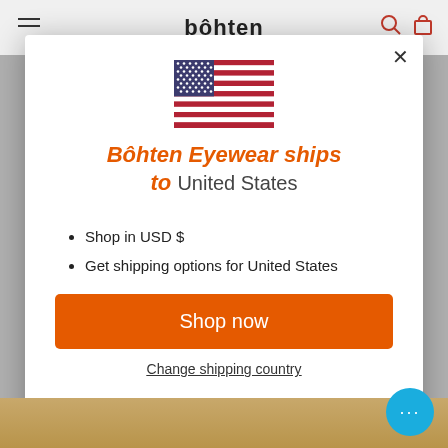bôhten
[Figure (illustration): United States flag SVG illustration]
Bôhten Eyewear ships to United States
Shop in USD $
Get shipping options for United States
Shop now
Change shipping country